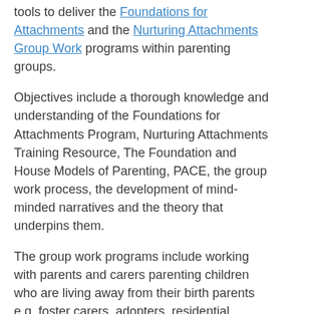tools to deliver the Foundations for Attachments and the Nurturing Attachments Group Work programs within parenting groups.
Objectives include a thorough knowledge and understanding of the Foundations for Attachments Program, Nurturing Attachments Training Resource, The Foundation and House Models of Parenting, PACE, the group work process, the development of mind-minded narratives and the theory that underpins them.
The group work programs include working with parents and carers parenting children who are living away from their birth parents e.g. foster carers, adopters, residential workers and kinship carers.
Who is it For?
Professionals who have completed DDP Level One and Two Trainings. Attendees do not need to live in England or the UK in order to register.
More information and bookings